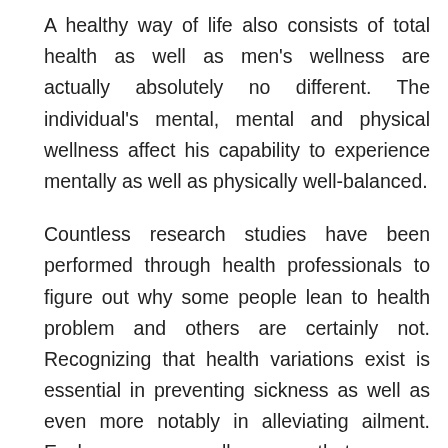A healthy way of life also consists of total health as well as men's wellness are actually absolutely no different. The individual's mental, mental and physical wellness affect his capability to experience mentally as well as physically well-balanced.
Countless research studies have been performed through health professionals to figure out why some people lean to health problem and others are certainly not. Recognizing that health variations exist is essential in preventing sickness as well as even more notably in alleviating ailment. Each women as well as guys that possess wellness differences are very likely to die prematurely.
Males and female possess differing volumes of lean muscular tissue mass as well as fat. Muscle mass are vital since they give help for bones, but excess fat is held